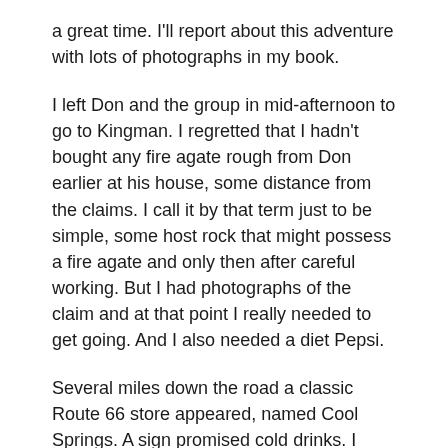a great time. I'll report about this adventure with lots of photographs in my book.
I left Don and the group in mid-afternoon to go to Kingman. I regretted that I hadn't bought any fire agate rough from Don earlier at his house, some distance from the claims. I call it by that term just to be simple, some host rock that might possess a fire agate and only then after careful working. But I had photographs of the claim and at that point I really needed to get going. And I also needed a diet Pepsi.
Several miles down the road a classic Route 66 store appeared, named Cool Springs. A sign promised cold drinks. I bought a diet Pepsi for two dollars and tipped the rustic, picturesque looking character at the cash register an extra dollar. His face lighted up at the tip and he thanked me.